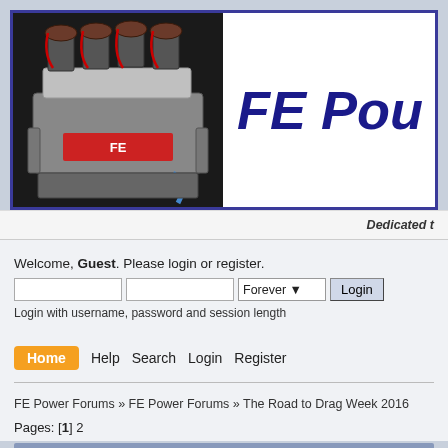[Figure (photo): FE Power Forums website header with engine photo on left and 'FE Pow' site title text on right in bold italic dark blue]
Dedicated t
Welcome, Guest. Please login or register.
Login with username, password and session length
Home  Help  Search  Login  Register
FE Power Forums » FE Power Forums » The Road to Drag Week 2016
Pages: [1] 2